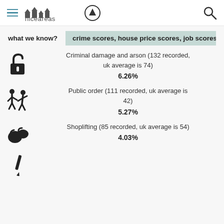niceareas
what we know? crime scores, house price scores, job scores a…
Criminal damage and arson (132 recorded, uk average is 74)
6.26%
Public order (111 recorded, uk average is 42)
5.27%
Shoplifting (85 recorded, uk average is 54)
4.03%